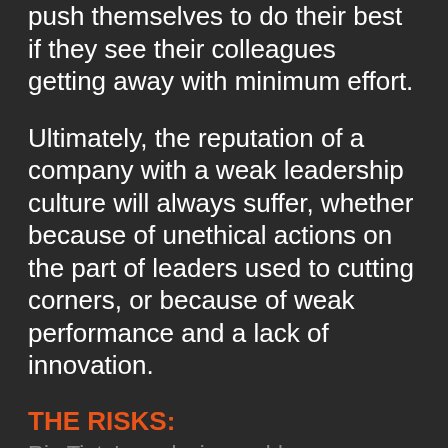push themselves to do their best if they see their colleagues getting away with minimum effort.
Ultimately, the reputation of a company with a weak leadership culture will always suffer, whether because of unethical actions on the part of leaders used to cutting corners, or because of weak performance and a lack of innovation.
THE RISKS:
Rio Tinto's explosive problem
Rio Tinto made a massive misstep when it decided to destroy ancient Aboriginal rock